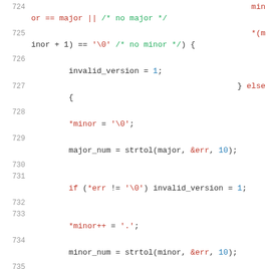[Figure (screenshot): Source code viewer showing C code lines 724-736. Lines display conditionals and assignments involving major/minor version parsing using strtol, with line numbers in gray on the left, red keywords/special tokens, and green comments.]